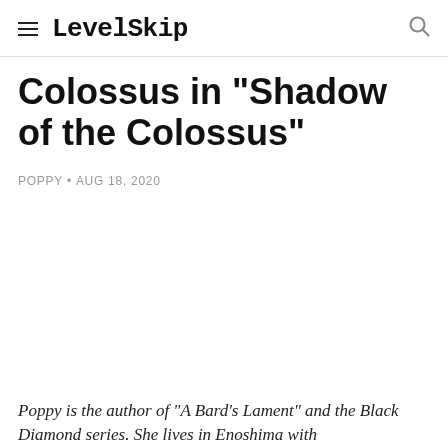LevelSkip
Colossus in "Shadow of the Colossus"
POPPY • AUG 18, 2020
Poppy is the author of "A Bard's Lament" and the Black Diamond series. She lives in Enoshima with